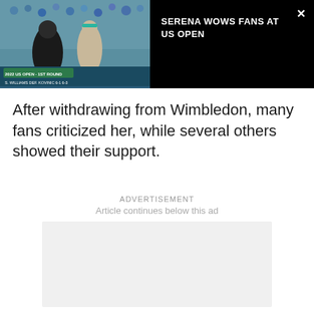[Figure (screenshot): Video banner with black background showing a tennis photo thumbnail on the left (two players at 2022 US Open 1st Round, S. Williams def. Kovinic 6-3 6-3) and white text title on the right with a close X button]
SERENA WOWS FANS AT US OPEN
After withdrawing from Wimbledon, many fans criticized her, while several others showed their support.
ADVERTISEMENT
Article continues below this ad
[Figure (other): Empty advertisement placeholder box with light gray background]